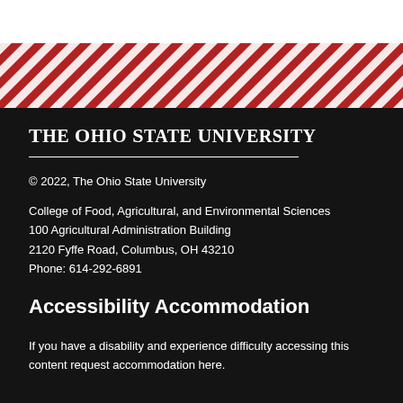[Figure (illustration): Diagonal red and white stripe decorative band across the top of the dark background section]
The Ohio State University
© 2022, The Ohio State University
College of Food, Agricultural, and Environmental Sciences
100 Agricultural Administration Building
2120 Fyffe Road, Columbus, OH 43210
Phone: 614-292-6891
Accessibility Accommodation
If you have a disability and experience difficulty accessing this content request accommodation here.